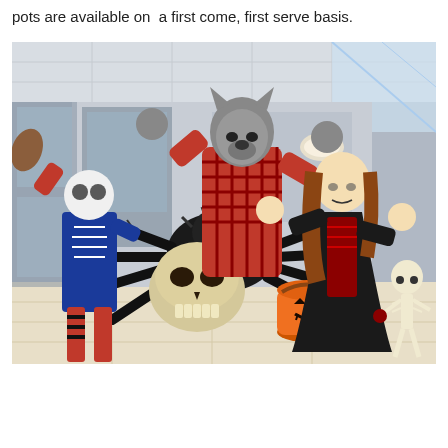pots are available on  a first come, first serve basis.
[Figure (photo): Children in Halloween costumes including a werewolf, skeleton clown, and vampire girl, posing with Halloween props including a large fake spider, a skull, an orange pumpkin candy bucket, and a toy skeleton, in what appears to be a shopping centre corridor.]